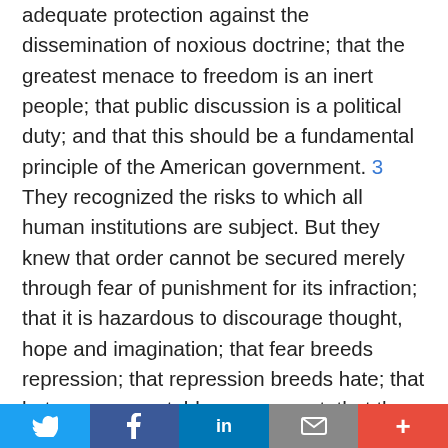adequate protection against the dissemination of noxious doctrine; that the greatest menace to freedom is an inert people; that public discussion is a political duty; and that this should be a fundamental principle of the American government. 3 They recognized the risks to which all human institutions are subject. But they knew that order cannot be secured merely through fear of punishment for its infraction; that it is hazardous to discourage thought, hope and imagination; that fear breeds repression; that repression breeds hate; that hate menaces stable government; that the path of safety lies in the opportunity to discuss freely supposed grievances and proposed remedies; and that the fitting remedy for evil counsels is good ones. Believing in the power of reason as applied through public discussion, they eschewed silence [274 U.S. 357, 376]   coerced by law-the argument of force in its worst form. Recognizing the occasional tyrannies of governing majorities, they amended
[Figure (other): Social sharing bar with Twitter, Facebook, LinkedIn, Email, and More buttons]